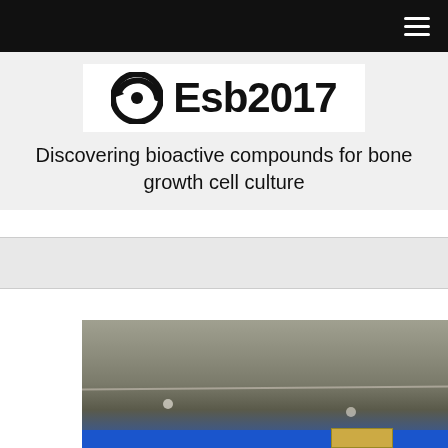[Figure (logo): Esb2017 logo with circular arrow icon and bold text 'Esb2017']
Discovering bioactive compounds for bone growth cell culture
[Figure (photo): Microscopy or laboratory photograph showing a grayish surface with a visible scratch/line across it and small bubbles, with a blue strip and gold/brown segment at the bottom]